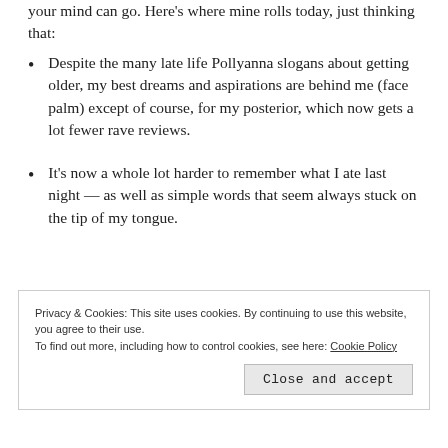your mind can go. Here’s where mine rolls today, just thinking that:
Despite the many late life Pollyanna slogans about getting older, my best dreams and aspirations are behind me (face palm) except of course, for my posterior, which now gets a lot fewer rave reviews.
It’s now a whole lot harder to remember what I ate last night — as well as simple words that seem always stuck on the tip of my tongue.
Privacy & Cookies: This site uses cookies. By continuing to use this website, you agree to their use.
To find out more, including how to control cookies, see here: Cookie Policy
Close and accept